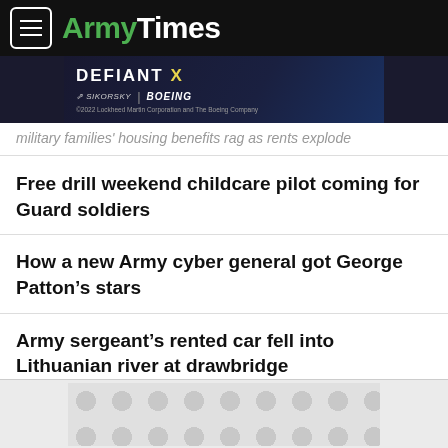ArmyTimes
[Figure (screenshot): Defiant X helicopter advertisement by Sikorsky and Boeing, ©2022 Lockheed Martin Corporation and The Boeing Company]
military families' housing benefits rag as rents explode
Free drill weekend childcare pilot coming for Guard soldiers
How a new Army cyber general got George Patton's stars
Army sergeant's rented car fell into Lithuanian river at drawbridge
[Figure (other): Advertisement placeholder with circular pattern]